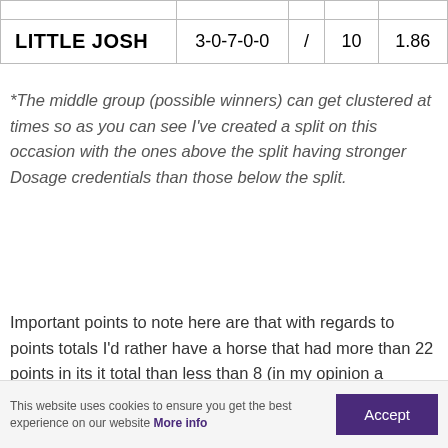|  |  | / |  |  |
| --- | --- | --- | --- | --- |
| LITTLE JOSH | 3-0-7-0-0 | / | 10 | 1.86 |
*The middle group (possible winners) can get clustered at times so as you can see I've created a split on this occasion with the ones above the split having stronger Dosage credentials than those below the split.
Important points to note here are that with regards to points totals I'd rather have a horse that had more than 22 points in its it total than less than 8 (in my opinion a stronger total is more desirable than a weak one).
This website uses cookies to ensure you get the best experience on our website More info  Accept